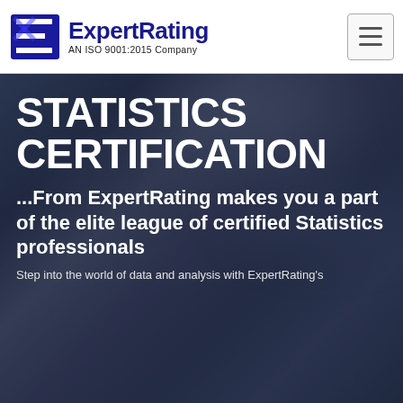ExpertRating — AN ISO 9001:2015 Company
STATISTICS CERTIFICATION
...From ExpertRating makes you a part of the elite league of certified Statistics professionals
Step into the world of data and analysis with ExpertRating's